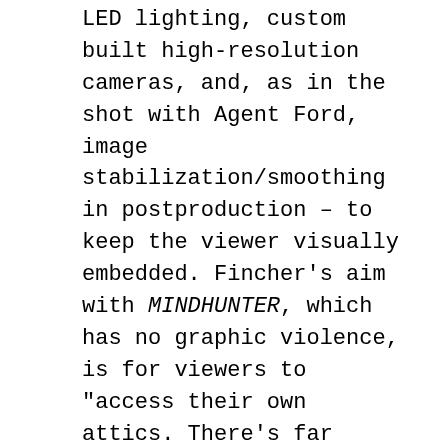LED lighting, custom built high-resolution cameras, and, as in the shot with Agent Ford, image stabilization/smoothing in postproduction – to keep the viewer visually embedded. Fincher's aim with MINDHUNTER, which has no graphic violence, is for viewers to "access their own attics. There's far scarier stuff up there than anything we can fabricate," the filmmaker insists. "I wanted people to register what's going on in [characters'] eyes and where the gear changes are taking place. At what point do I [as the viewer] feel like, 'OK, I've got an insight,' and at what point do they feel like: 'oh, I'm being sold something. It's all about the nuance in how the balance of power is changing."

Fincher's longtime postproduction supervisor, Peter